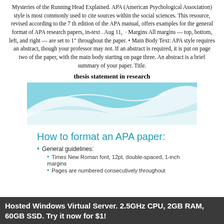Mysteries of the Running Head Explained. APA (American Psychological Association) style is most commonly used to cite sources within the social sciences. This resource, revised according to the 7 th edition of the APA manual, offers examples for the general format of APA research papers, in-text . Aug 11, · Margins All margins — top, bottom, left, and right — are set to 1" throughout the paper. • Main Body Text: APA style requires an abstract, though your professor may not. If an abstract is required, it is put on page two of the paper, with the main body starting on page three. An abstract is a brief summary of your paper. Title.
thesis statement in research
[Figure (illustration): Decorative banner with blue and teal wave shapes on a light background, showing 'How to format an APA paper:' as a heading with bullet points below about General guidelines, Times New Roman font 12pt double-spaced 1-inch margins, and Pages are numbered consecutively throughout]
Hosted Windows Virtual Server. 2.5GHz CPU, 2GB RAM, 60GB SSD. Try it now for $1!